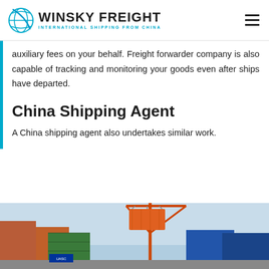WINSKY FREIGHT — INTERNATIONAL SHIPPING FROM CHINA
auxiliary fees on your behalf. Freight forwarder company is also capable of tracking and monitoring your goods even after ships have departed.
China Shipping Agent
A China shipping agent also undertakes similar work.
[Figure (photo): Port/shipping yard photo showing cargo containers and a crane lifting an orange container against a blue sky.]